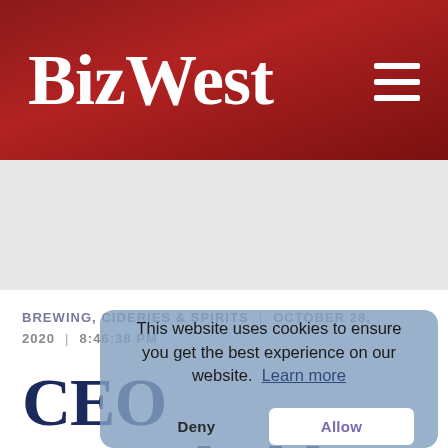BizWest
BREWING, CIDERIES & SPIRITS | OCTOBER 28, 2020 | 8:46:38 PM
CEO Roundtable: Northern Colorado brewers brace for
This website uses cookies to ensure you get the best experience on our website. Learn more
Deny  Allow